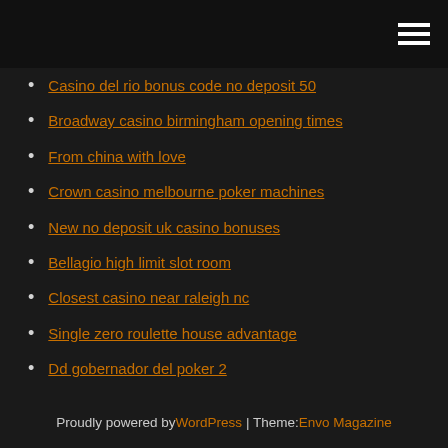[hamburger menu icon]
Casino del rio bonus code no deposit 50
Broadway casino birmingham opening times
From china with love
Crown casino melbourne poker machines
New no deposit uk casino bonuses
Bellagio high limit slot room
Closest casino near raleigh nc
Single zero roulette house advantage
Dd gobernador del poker 2
When to play the las vegas slot machines
Anderson casino new years eve
Proudly powered by WordPress | Theme: Envo Magazine